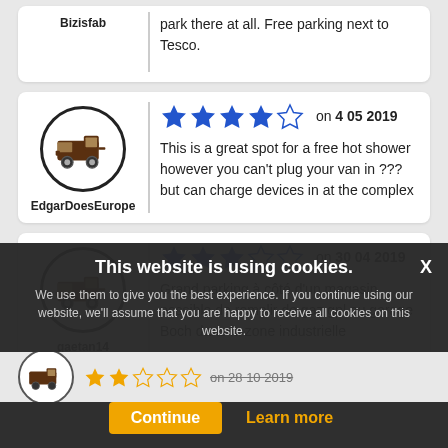Bizisfab — park there at all. Free parking next to Tesco.
EdgarDoesEurope — 4 stars out of 5 — on 4 05 2019 — This is a great spot for a free hot shower however you can't plug your van in ??? but can charge devices in at the complex
gaetan14 — 3 stars out of 5 — on 30 04 2019 — Grand parking à côté d'un magasin, possible de remplir de gaz gpl au garage Boch dans la zone industrielle
This website is using cookies. We use them to give you the best experience. If you continue using our website, we'll assume that you are happy to receive all cookies on this website. Continue | Learn more